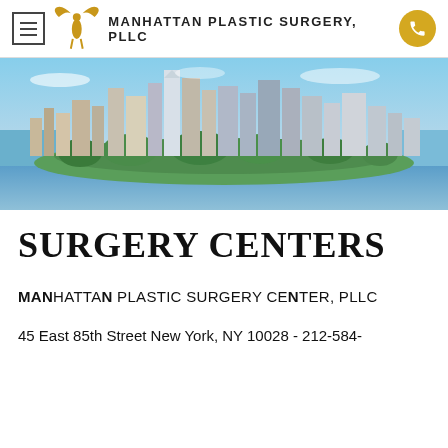MANHATTAN PLASTIC SURGERY, PLLC
[Figure (photo): Aerial panoramic photo of Lower Manhattan island with skyscrapers surrounded by water, green trees in the foreground, blue sky]
SURGERY CENTERS
MANHATTAN PLASTIC SURGERY CENTER, PLLC
45 East 85th Street New York, NY 10028 - 212-584-